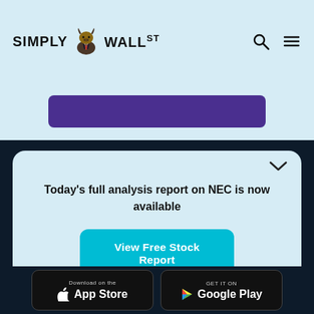[Figure (logo): Simply Wall St logo with bison mascot in a suit, with search and hamburger menu icons in the top navigation bar]
[Figure (other): Purple/dark violet button partially visible]
Today's full analysis report on NEC is now available
View Free Stock Report
[Figure (other): App Store and Google Play download buttons at the bottom]